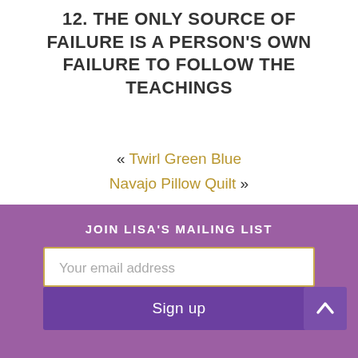12. THE ONLY SOURCE OF FAILURE IS A PERSON'S OWN FAILURE TO FOLLOW THE TEACHINGS
« Twirl Green Blue
Navajo Pillow Quilt »
JOIN LISA'S MAILING LIST
Your email address
Sign up